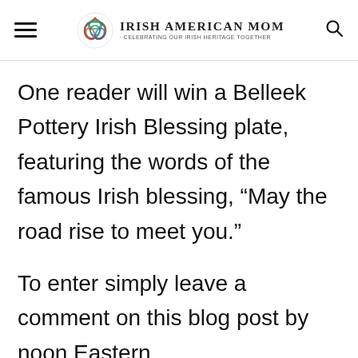Irish American Mom - Celebrating Our Irish Heritage Together
One reader will win a Belleek Pottery Irish Blessing plate, featuring the words of the famous Irish blessing, “May the road rise to meet you.”
To enter simply leave a comment on this blog post by noon Eastern Time on Saturday, December 11th,